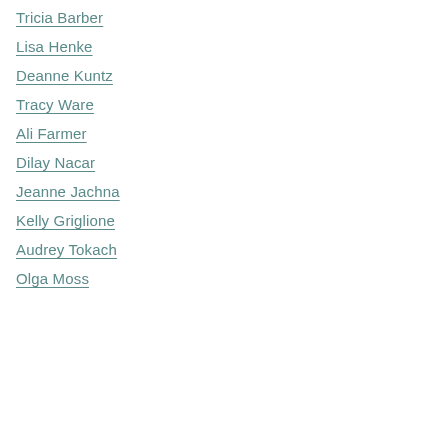Tricia Barber
Lisa Henke
Deanne Kuntz
Tracy Ware
Ali Farmer
Dilay Nacar
Jeanne Jachna
Kelly Griglione
Audrey Tokach
Olga Moss